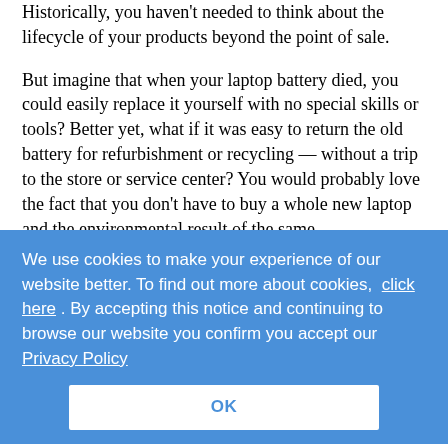Historically, you haven't needed to think about the lifecycle of your products beyond the point of sale.

But imagine that when your laptop battery died, you could easily replace it yourself with no special skills or tools? Better yet, what if it was easy to return the old battery for refurbishment or recycling — without a trip to the store or service center? You would probably love the fact that you don't have to buy a whole new laptop and the environmental result of the same.

What sounds like a simple concept on the surface is a complex reverse logistics challenge behind the scenes: What is the process for sending back the used battery? Does the consumer have to pay? Where will they send the used batteries, and what does repurposing the batteries look like? Is it cost-effective and environmentally friendly? Is there a third party in the
We use cookies to make your experience of our website better. To find out more about cookies, click here . By accepting this notice and continuing to browse our website you confirm you accept our Privacy Policy
OK